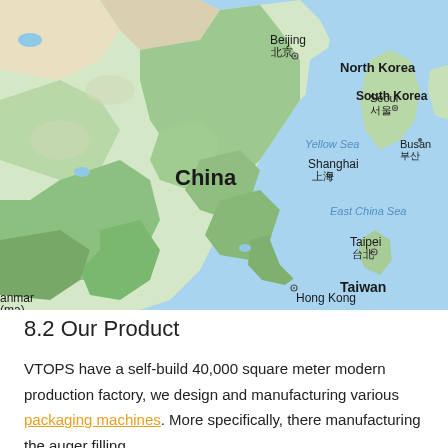[Figure (map): Google Maps view of East Asia showing China, North Korea, South Korea, Taiwan, with labeled cities including Beijing, Shanghai, Seoul, Busan, Taipei, Hong Kong, and bodies of water Yellow Sea and East China Sea.]
8.2 Our Product
VTOPS have a self-build 40,000 square meter modern production factory, we design and manufacturing various packaging machines. More specifically, there manufacturing the auger filling